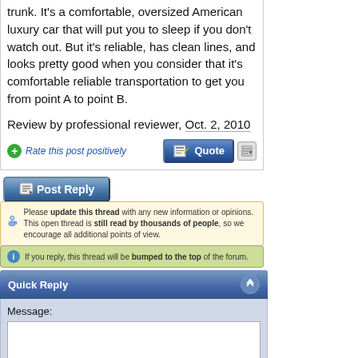trunk. It's a comfortable, oversized American luxury car that will put you to sleep if you don't watch out. But it's reliable, has clean lines, and looks pretty good when you consider that it's comfortable reliable transportation to get you from point A to point B.
Review by professional reviewer, Oct. 2, 2010
[Figure (screenshot): Rate this post positively link with green plus icon, Quote button, and edit icon button]
[Figure (screenshot): Post Reply button]
Please update this thread with any new information or opinions. This open thread is still read by thousands of people, so we encourage all additional points of view.
If you reply, this thread will be bumped to the top of the forum.
Quick Reply
Message: